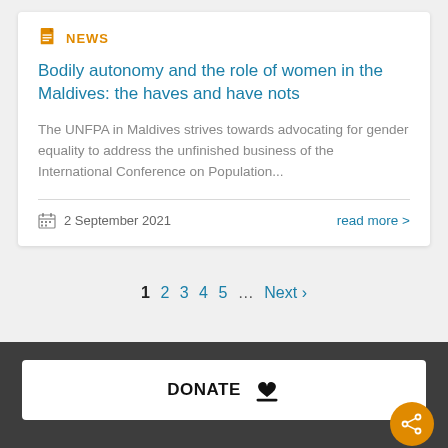NEWS
Bodily autonomy and the role of women in the Maldives: the haves and have nots
The UNFPA in Maldives strives towards advocating for gender equality to address the unfinished business of the International Conference on Population...
2 September 2021
read more >
1  2  3  4  5  ...  Next ›
DONATE